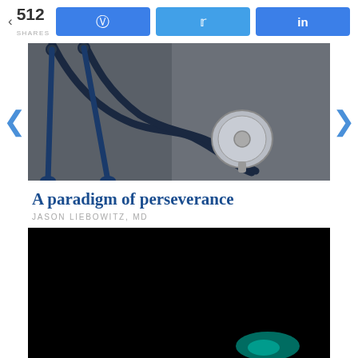512 SHARES
[Figure (photo): Close-up photo of a stethoscope on a dark gray surface]
A paradigm of perseverance
JASON LIEBOWITZ, MD
[Figure (photo): Dark/black image with faint teal glow in lower right, possibly a stethoscope in low light]